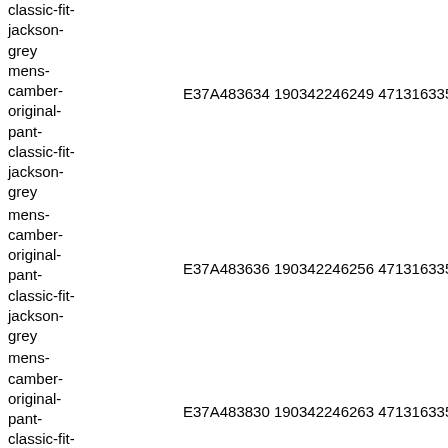classic-fit-jackson-grey mens-camber-original-pant-classic-fit-jackson-grey E37A483634 190342246249 4713163358297 3214900
mens-camber-original-pant-classic-fit-jackson-grey E37A483636 190342246256 4713163358297 3214900
mens-camber-original-pant-classic-fit-jackson-grey E37A483830 190342246263 4713163358297 3214900
mens-